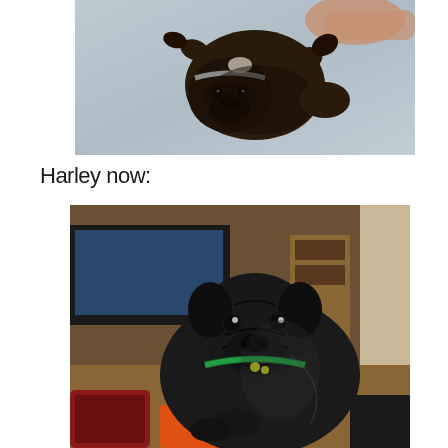[Figure (photo): A black pug puppy being held, lying on its back on a light blue/grey fabric surface. The puppy has a small collar and its wrinkled face is visible.]
Harley now:
[Figure (photo): An adult black pug dog sitting and looking at the camera in a room with electronics/TV equipment in the background. The dog has a green collar and is sitting on or near an orange item.]